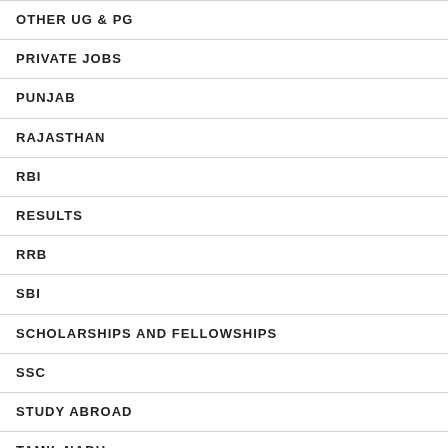OTHER UG & PG
PRIVATE JOBS
PUNJAB
RAJASTHAN
RBI
RESULTS
RRB
SBI
SCHOLARSHIPS AND FELLOWSHIPS
SSC
STUDY ABROAD
TAMIL NADU